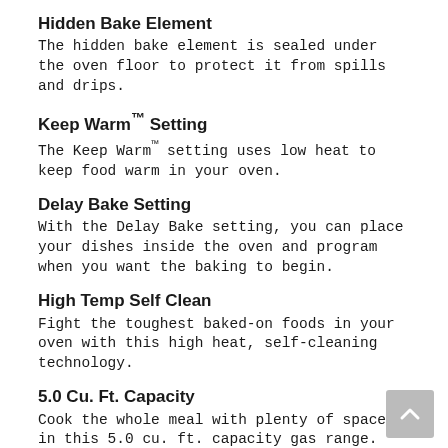Hidden Bake Element
The hidden bake element is sealed under the oven floor to protect it from spills and drips.
Keep Warm™ Setting
The Keep Warm™ setting uses low heat to keep food warm in your oven.
Delay Bake Setting
With the Delay Bake setting, you can place your dishes inside the oven and program when you want the baking to begin.
High Temp Self Clean
Fight the toughest baked-on foods in your oven with this high heat, self-cleaning technology.
5.0 Cu. Ft. Capacity
Cook the whole meal with plenty of space in this 5.0 cu. ft. capacity gas range.
Simmer Burner
The simmer burner provides 800 to 5,000 BTUs of precise, adjustable heat to give your gas range both